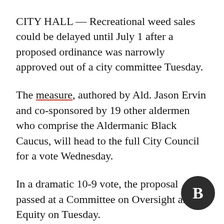CITY HALL — Recreational weed sales could be delayed until July 1 after a proposed ordinance was narrowly approved out of a city committee Tuesday.
The measure, authored by Ald. Jason Ervin and co-sponsored by 19 other aldermen who comprise the Aldermanic Black Caucus, will head to the full City Council for a vote Wednesday.
In a dramatic 10-9 vote, the proposal passed at a Committee on Oversight and Equity on Tuesday.
Alds. Sophia King (4th), Roderick Sawyer (6th), David Moore (17th), Raymond Lopez (15th), Jeanette Taylor (20th), Byron Sigcho-Lopez
[Figure (logo): Block Club Chicago logo — dark circular badge with white letter B]